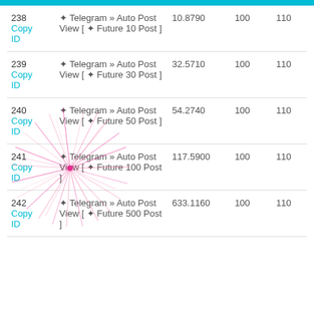| ID | Description | Price | 100 | 110 |
| --- | --- | --- | --- | --- |
| 238
Copy ID | ✦ Telegram » Auto Post View [ ✦ Future 10 Post ] | 10.8790 | 100 | 110 |
| 239
Copy ID | ✦ Telegram » Auto Post View [ ✦ Future 30 Post ] | 32.5710 | 100 | 110 |
| 240
Copy ID | ✦ Telegram » Auto Post View [ ✦ Future 50 Post ] | 54.2740 | 100 | 110 |
| 241
Copy ID | ✦ Telegram » Auto Post View [ ✦ Future 100 Post ] | 117.5900 | 100 | 110 |
| 242
Copy ID | ✦ Telegram » Auto Post View [ ✦ Future 500 Post ] | 633.1160 | 100 | 110 |